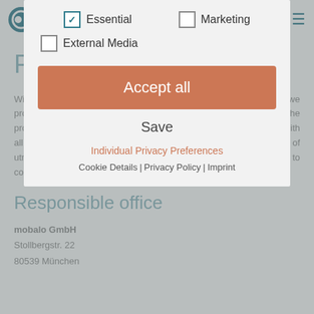mobalo DE | EN
Privacy Statement
With this Privacy Statement we would like to inform you about how we process personal data. We are aware of the importance of the processing of personal data for the user and are working comply with all relevant legal requirements. The protection of your privacy is of utmost importance to us. That is why it is a matter of course for us to comply with the legal provisions on data protection.
Responsible office
mobalo GmbH
Stollbergstr. 22
80539 München
[Figure (screenshot): Cookie consent modal overlay with checkboxes for Essential, Marketing, External Media options, Accept all button, Save link, Individual Privacy Preferences link, and Cookie Details | Privacy Policy | Imprint footer links]